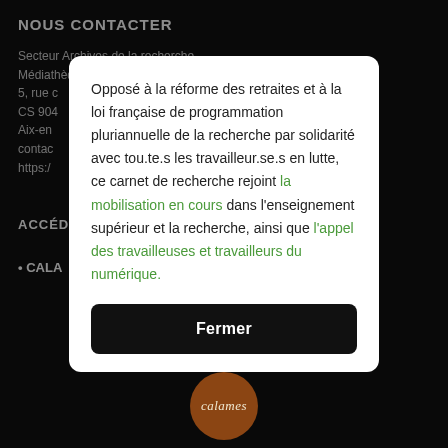NOUS CONTACTER
Secteur Archives de la recherche
Médiathèque MMSH
5, rue c…
CS 904…
Aix-en…
contact…
https:/…
ACCÉD…
• CALA…
Opposé à la réforme des retraites et à la loi française de programmation pluriannuelle de la recherche par solidarité avec tou.te.s les travailleur.se.s en lutte, ce carnet de recherche rejoint la mobilisation en cours dans l'enseignement supérieur et la recherche, ainsi que l'appel des travailleuses et travailleurs du numérique.
Fermer
[Figure (logo): Calames circular logo in brown with italic white text]